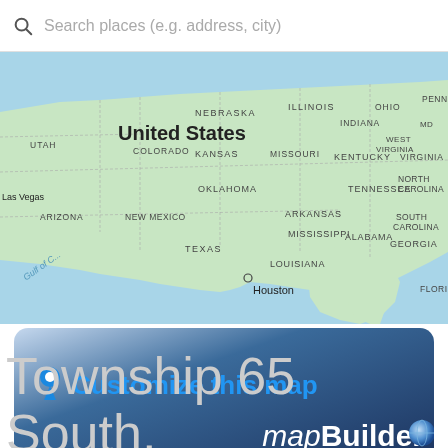Search places (e.g. address, city)
[Figure (map): Map of the United States showing state boundaries and labels including Nebraska, Illinois, Ohio, Penn, Utah, Colorado, Kansas, Indiana, MD, Missouri, West Virginia, Kentucky, Virginia, Las Vegas, Oklahoma, Tennessee, North Carolina, Arizona, New Mexico, Arkansas, South Carolina, Mississippi, Alabama, Georgia, Texas, Louisiana, Florida, and a marker on Houston. Also shows Gulf of Mexico.]
[Figure (infographic): Blue gradient banner with a map pin icon, text 'Customize this map' in blue, and 'mapBuilder' in white italic/bold with a blue globe icon.]
randymajors.org Map Tools ©2022 randymajors.org
Township 65 South, Range 35 East